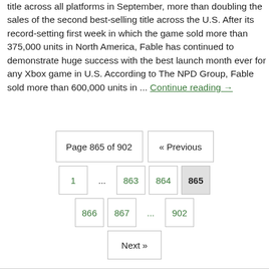title across all platforms in September, more than doubling the sales of the second best-selling title across the U.S. After its record-setting first week in which the game sold more than 375,000 units in North America, Fable has continued to demonstrate huge success with the best launch month ever for any Xbox game in U.S. According to The NPD Group, Fable sold more than 600,000 units in ... Continue reading →
Page 865 of 902  « Previous  1  ...  863  864  865  866  867  ...  902  Next »